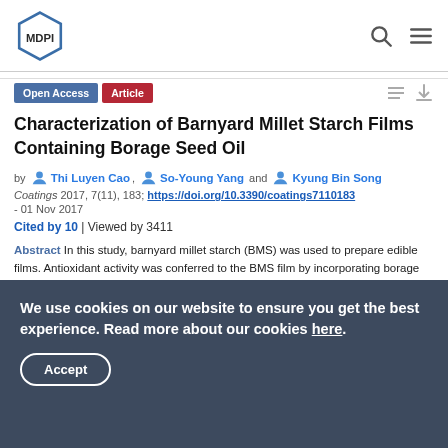MDPI
Characterization of Barnyard Millet Starch Films Containing Borage Seed Oil
by Thi Luyen Cao, So-Young Yang and Kyung Bin Song
Coatings 2017, 7(11), 183; https://doi.org/10.3390/coatings7110183
- 01 Nov 2017
Cited by 10 | Viewed by 3411
Abstract In this study, barnyard millet starch (BMS) was used to prepare edible films. Antioxidant activity was conferred to the BMS film by incorporating borage seed oil (BO). The physical, optical, and
We use cookies on our website to ensure you get the best experience. Read more about our cookies here. Accept